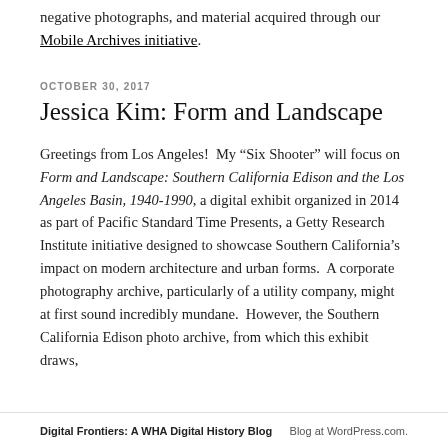negative photographs, and material acquired through our Mobile Archives initiative.
OCTOBER 30, 2017
Jessica Kim: Form and Landscape
Greetings from Los Angeles!  My “Six Shooter” will focus on Form and Landscape: Southern California Edison and the Los Angeles Basin, 1940-1990, a digital exhibit organized in 2014 as part of Pacific Standard Time Presents, a Getty Research Institute initiative designed to showcase Southern California’s impact on modern architecture and urban forms.  A corporate photography archive, particularly of a utility company, might at first sound incredibly mundane.  However, the Southern California Edison photo archive, from which this exhibit draws, could be the most extraordinary collection I have had
Digital Frontiers: A WHA Digital History Blog Blog at WordPress.com.